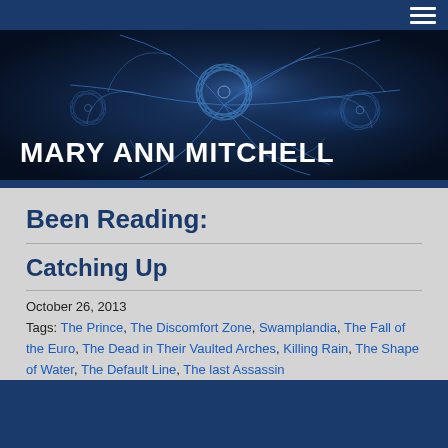[Figure (illustration): Website header banner with dark blue neural/floral fractal background art and white bold text reading MARY ANN MITCHELL. A hamburger menu icon appears in the top right corner.]
Been Reading:
Catching Up
October 26, 2013
Tags: The Prince, The Discomfort Zone, Swamplandia, The Fall of the Euro, The Dead in Their Vaulted Arches, Killing Rain, The Shape of Water, The Default Line, The last Assassin